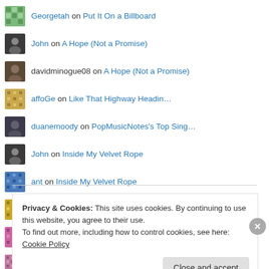Georgetah on Put It On a Billboard
John on A Hope (Not a Promise)
davidminogue08 on A Hope (Not a Promise)
affoGe on Like That Highway Headin…
duanemoody on PopMusicNotes's Top Sing…
John on Inside My Velvet Rope
ant on Inside My Velvet Rope
ernestho69 on Like That Highway Headin…
TimothyVapse on Like That Highway Headin…
StevenHuh on Like That Highway Headin…
Privacy & Cookies: This site uses cookies. By continuing to use this website, you agree to their use. To find out more, including how to control cookies, see here: Cookie Policy